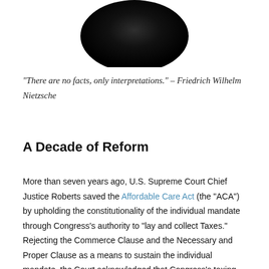[Figure (photo): Bottom portion of a person's head with dark hair, cropped — only the lower scalp/hair visible against white background]
“There are no facts, only interpretations.” – Friedrich Wilhelm Nietzsche
A Decade of Reform
More than seven years ago, U.S. Supreme Court Chief Justice Roberts saved the Affordable Care Act (the “ACA”) by upholding the constitutionality of the individual mandate through Congress’s authority to “lay and collect Taxes.”  Rejecting the Commerce Clause and the Necessary and Proper Clause as a means to sustain the individual mandate, the Court acknowledged that Congress’s taxing